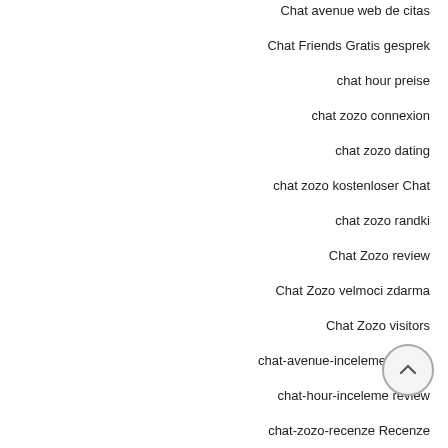Chat avenue web de citas
Chat Friends Gratis gesprek
chat hour preise
chat zozo connexion
chat zozo dating
chat zozo kostenloser Chat
chat zozo randki
Chat Zozo review
Chat Zozo velmoci zdarma
Chat Zozo visitors
chat-avenue-inceleme visitors
chat-hour-inceleme review
chat-zozo-recenze Recenze